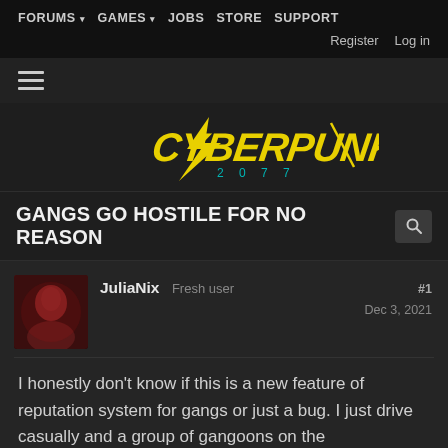FORUMS  GAMES  JOBS  STORE  SUPPORT  Register  Log in
[Figure (logo): Cyberpunk 2077 yellow logo on dark background]
GANGS GO HOSTILE FOR NO REASON
JuliaNix  Fresh user  #1  Dec 3, 2021
I honestly don't know if this is a new feature of reputation system for gangs or just a bug. I just drive casually and a group of gangoons on the